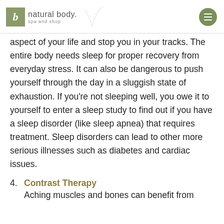natural body. spa and shop
aspect of your life and stop you in your tracks. The entire body needs sleep for proper recovery from everyday stress. It can also be dangerous to push yourself through the day in a sluggish state of exhaustion. If you're not sleeping well, you owe it to yourself to enter a sleep study to find out if you have a sleep disorder (like sleep apnea) that requires treatment. Sleep disorders can lead to other more serious illnesses such as diabetes and cardiac issues.
4. Contrast Therapy
Aching muscles and bones can benefit from